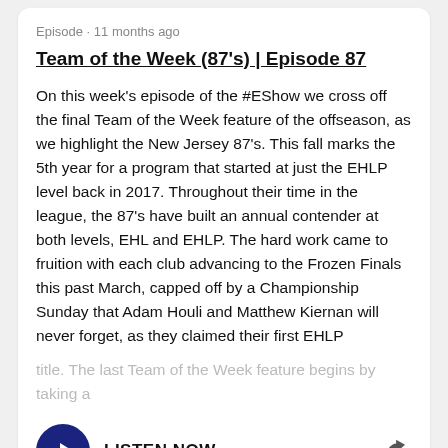Episode · 11 months ago
Team of the Week (87's) | Episode 87
On this week's episode of the #EShow we cross off the final Team of the Week feature of the offseason, as we highlight the New Jersey 87's. This fall marks the 5th year for a program that started at just the EHLP level back in 2017. Throughout their time in the league, the 87's have built an annual contender at both levels, EHL and EHLP. The hard work came to fruition with each club advancing to the Frozen Finals this past March, capped off by a Championship Sunday that Adam Houli and Matthew Kiernan will never forget, as they claimed their first EHLP title. The last Team of the Week feature begins by taking a
LISTEN NOW
Episode · 11 months ago
Team of the Week (Apple Core) | Episode